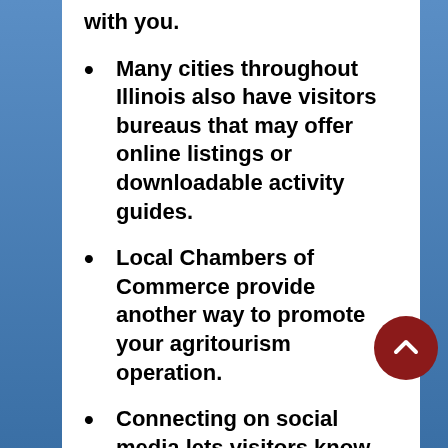with you.
Many cities throughout Illinois also have visitors bureaus that may offer online listings or downloadable activity guides.
Local Chambers of Commerce provide another way to promote your agritourism operation.
Connecting on social media lets visitors know when your agritourism business is open for their enjoyment.
In addition to these options, you may choose to list your farm in commercial agritainment listing websites. Many directory sites offer free listings, while some are paid. Free sites often have click-